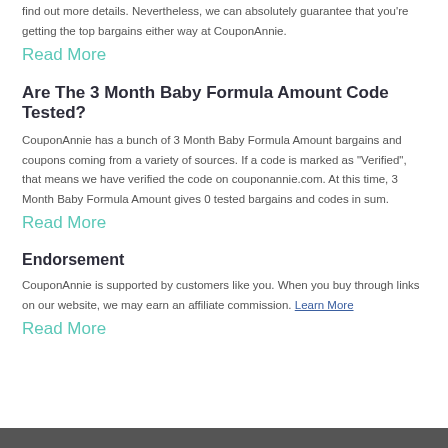find out more details. Nevertheless, we can absolutely guarantee that you're getting the top bargains either way at CouponAnnie.
Read More
Are The 3 Month Baby Formula Amount Code Tested?
CouponAnnie has a bunch of 3 Month Baby Formula Amount bargains and coupons coming from a variety of sources. If a code is marked as "Verified", that means we have verified the code on couponannie.com. At this time, 3 Month Baby Formula Amount gives 0 tested bargains and codes in sum.
Read More
Endorsement
CouponAnnie is supported by customers like you. When you buy through links on our website, we may earn an affiliate commission. Learn More
Read More